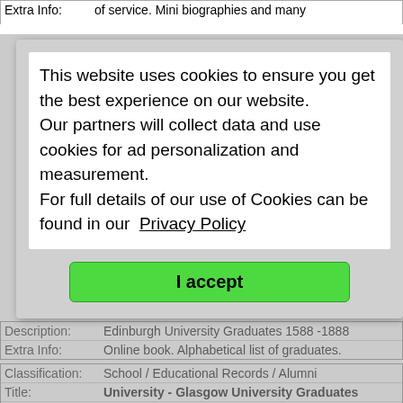Extra Info: of service. Mini biographies and many
This website uses cookies to ensure you get the best experience on our website. Our partners will collect data and use cookies for ad personalization and measurement. For full details of our use of Cookies can be found in our Privacy Policy
I accept
Roll of
5rollo19
ur 1914
oll of ser
its.
raduate
st00univ
-1888
| Field | Value |
| --- | --- |
| Description: | Edinburgh University Graduates 1588-1888 |
| Extra Info: | Online book. Alphabetical list of graduates. |
| Field | Value |
| --- | --- |
| Classification: | School / Educational Records / Alumni |
| Title: | University - Glasgow University Graduates |
| Link: | http://archive.org/details/rollofgraduateso00ad... |
| Description: | Glasgow University Graduates 1727-1897 |
| Extra Info: | Online book. Alphabetical list of graduates. |
Back to top.
| Field | Value |
| --- | --- |
| Classification: | School / Educational Records / Alumni |